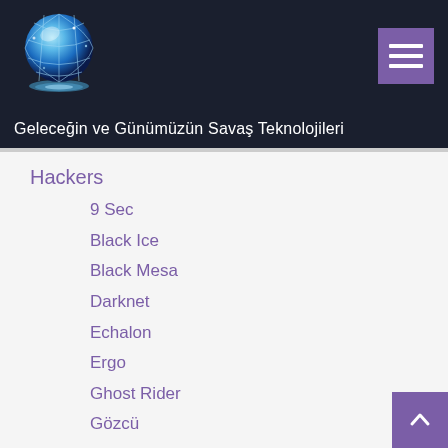[Figure (logo): Glowing blue globe with network lines on dark background, website logo]
Geleceğin ve Günümüzün Savaş Teknolojileri
Hackers
9 Sec
Black Ice
Black Mesa
Darknet
Echalon
Ergo
Ghost Rider
Gözcü
Hallow Rider
Kılavuz